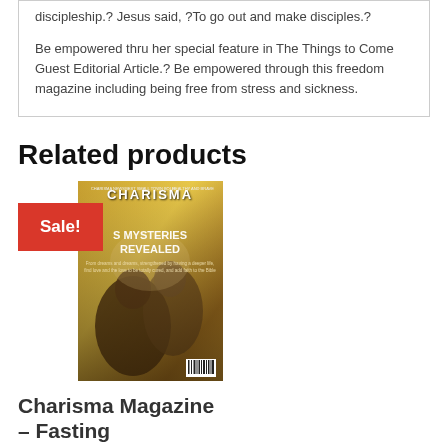discipleship.? Jesus said, ?To go out and make disciples.?

Be empowered thru her special feature in The Things to Come Guest Editorial Article.? Be empowered through this freedom magazine including being free from stress and sickness.
Related products
[Figure (photo): Magazine cover of Charisma showing a couple praying together with text 'MYSTERIES REVEALED' and a Sale! badge in red]
Charisma Magazine – Fasting